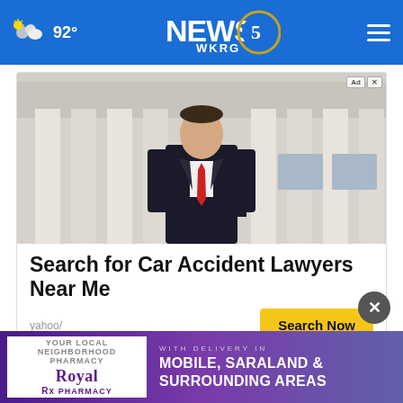92° NEWS 5 WKRG
[Figure (screenshot): Advertisement showing a man in a suit and tie standing in front of a courthouse with large white columns]
Search for Car Accident Lawyers Near Me
yahoo/
Search Now
[Figure (logo): Royal Rx Pharmacy advertisement banner - Your Local Neighborhood Pharmacy - With Delivery in Mobile, Saraland & Surrounding Areas]